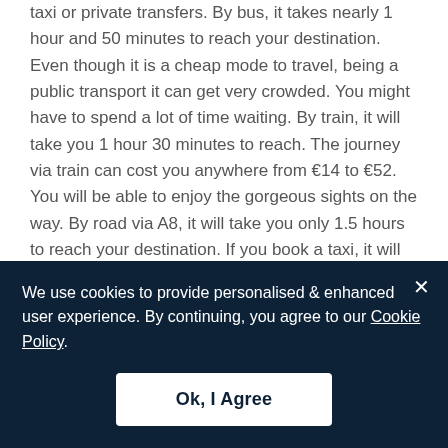taxi or private transfers. By bus, it takes nearly 1 hour and 50 minutes to reach your destination. Even though it is a cheap mode to travel, being a public transport it can get very crowded. You might have to spend a lot of time waiting. By train, it will take you 1 hour 30 minutes to reach. The journey via train can cost you anywhere from €14 to €52. You will be able to enjoy the gorgeous sights on the way. By road via A8, it will take you only 1.5 hours to reach your destination. If you book a taxi, it will cost you €295 plus waiting charges if any. The best and the most convenient way is to book a private transfer. Private transfer offers you premier services and comfort. You can pre-book a transfer at Rydeu.com. We offer you many benefits; The secure online booking process, Customizing
We use cookies to provide personalised & enhanced user experience. By continuing, you agree to our Cookie Policy.
Ok, I Agree